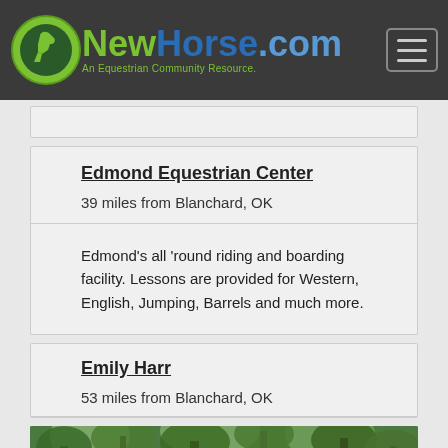[Figure (logo): NewHorse.com logo with horse icon and tagline 'An Equestrian Community Resource.']
Edmond Equestrian Center
39 miles from Blanchard, OK
Edmond's all 'round riding and boarding facility. Lessons are provided for Western, English, Jumping, Barrels and much more.
Emily Harr
53 miles from Blanchard, OK
[Figure (photo): Outdoor photo showing trees and a person on horseback in a forested setting.]